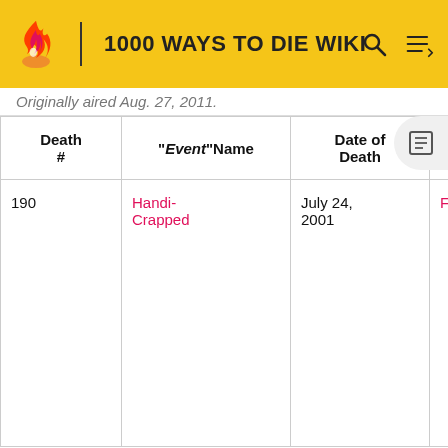1000 WAYS TO DIE WIKI
Originally aired Aug. 27, 2011.
| Death # | "Event"Name | Date of Death | Location |  |
| --- | --- | --- | --- | --- |
| 190 | Handi-Crapped | July 24, 2001 | Flint, MI | A ma mob and bulli cow regu thre his c caus inju one cow in or takir |